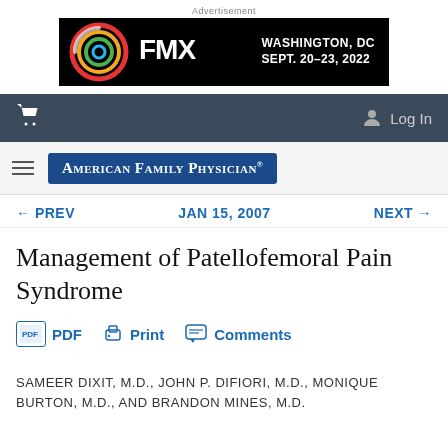[Figure (other): FMX conference advertisement banner: black background with colorful rings on left, FMX text, Washington DC Sept 20-23 2022 on right]
Navigation bar with shopping cart icon and Log In button
[Figure (logo): American Family Physician journal logo in blue rectangle]
← PREV   JAN 15, 2007   NEXT →
Management of Patellofemoral Pain Syndrome
PDF   Print   Comments
SAMEER DIXIT, M.D., JOHN P. DIFIORI, M.D., MONIQUE BURTON, M.D., AND BRANDON MINES, M.D.